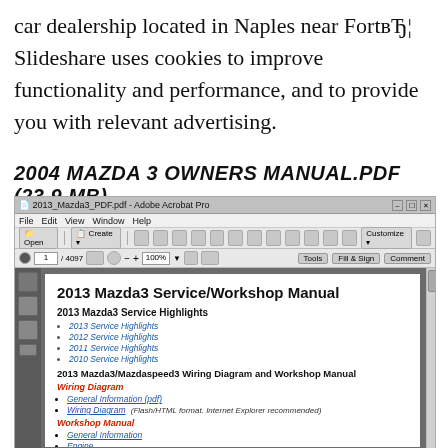car dealership located in Naples near FortвЂ¦ Slideshare uses cookies to improve functionality and performance, and to provide you with relevant advertising.
2004 MAZDA 3 OWNERS MANUAL.PDF (23.9 MB)
[Figure (screenshot): Screenshot of Adobe Acrobat Pro showing a PDF titled '2013 Mazda3 Service/Workshop Manual' with sections for Service Highlights, Wiring Diagram, and Workshop Manual with various links and subsections.]